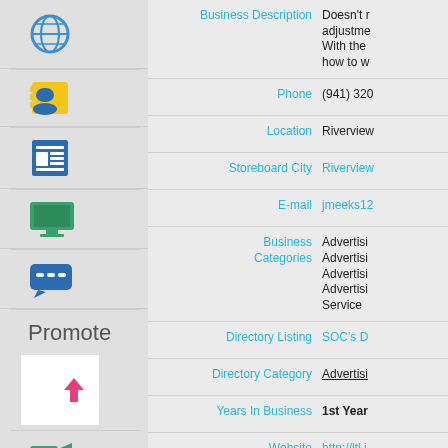[Figure (infographic): Left sidebar with navigation icons: globe, contacts, news/document, desktop monitor, chat bubbles]
Promote
[Figure (infographic): Promote section icons: upload arrow, video camera, RSS feed, camera]
| Field | Value |
| --- | --- |
| Business Description | Doesn't... adjustment... With the... how to w... |
| Phone | (941) 320... |
| Location | Riverview... |
| Storeboard City | Riverview... |
| E-mail | jmeeks12... |
| Business Categories | Advertisi... Advertisi... Advertisi... Advertisi... Service |
| Directory Listing | SOC's D... |
| Directory Category | Advertisi... |
| Years In Business | 1st Year |
| Website | http://ltl.i... |
| Social Media Profiles | Facebook... Twitter... |
| Follow Us On Twitter! | Follow @... |